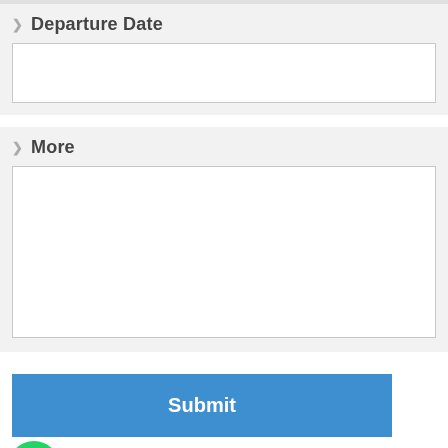Departure Date
[Figure (other): Empty text input box for departure date]
More
[Figure (other): Large empty textarea for more information]
Submit
[Figure (other): WhatsApp chat button - green circle with WhatsApp icon, text 'Need Help? Chat with us' and partial text visible]
[Figure (photo): Partial nature/forest image visible at bottom of page]